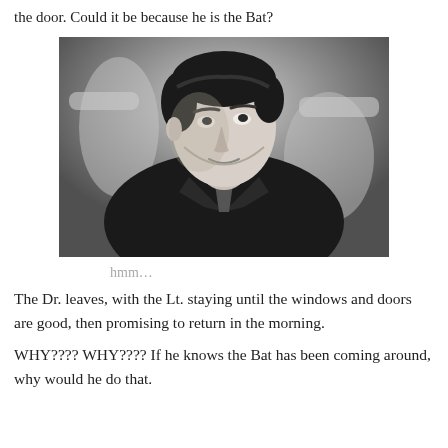the door. Could it be because he is the Bat?
[Figure (photo): Black and white photo of a young man in a leather jacket, looking upward and to the side, seated outdoors with chairs visible in background.]
hmm…
The Dr. leaves, with the Lt. staying until the windows and doors are good, then promising to return in the morning.
WHY???? WHY???? If he knows the Bat has been coming around, why would he do that.